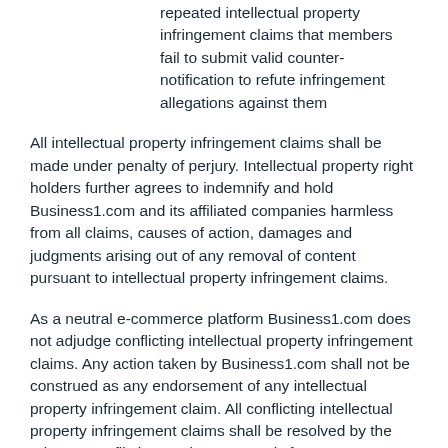repeated intellectual property infringement claims that members fail to submit valid counter-notification to refute infringement allegations against them
All intellectual property infringement claims shall be made under penalty of perjury. Intellectual property right holders further agrees to indemnify and hold Business1.com and its affiliated companies harmless from all claims, causes of action, damages and judgments arising out of any removal of content pursuant to intellectual property infringement claims.
As a neutral e-commerce platform Business1.com does not adjudge conflicting intellectual property infringement claims. Any action taken by Business1.com shall not be construed as any endorsement of any intellectual property infringement claim. All conflicting intellectual property infringement claims shall be resolved by the relevant conflicting parties separately from Business1.com and the Site.
4. Submit a Complaint or Notice
If you are intellectual property rights owner and believe certain product listings on Business1.com infringe upon your intellectual property rights, please submit a complaint to:
info@business1.com or alternatively the official address for